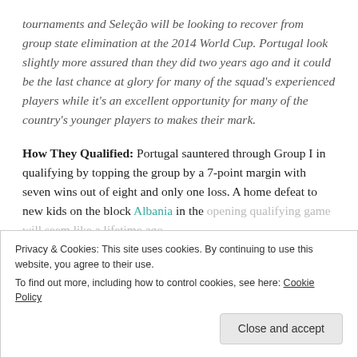tournaments and Seleção will be looking to recover from group state elimination at the 2014 World Cup. Portugal look slightly more assured than they did two years ago and it could be the last chance at glory for many of the squad's experienced players while it's an excellent opportunity for many of the country's younger players to makes their mark.
How They Qualified: Portugal sauntered through Group I in qualifying by topping the group by a 7-point margin with seven wins out of eight and only one loss. A home defeat to new kids on the block Albania in the opening qualifying game will seem like a lifetime ago
Privacy & Cookies: This site uses cookies. By continuing to use this website, you agree to their use. To find out more, including how to control cookies, see here: Cookie Policy